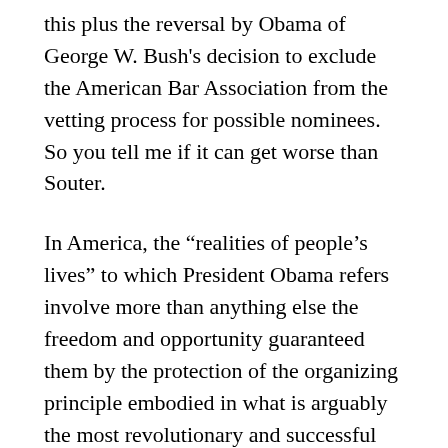this plus the reversal by Obama of George W. Bush's decision to exclude the American Bar Association from the vetting process for possible nominees.  So you tell me if it can get worse than Souter.
In America, the “realities of people’s lives” to which President Obama refers involve more than anything else the freedom and opportunity guaranteed them by the protection of the organizing principle embodied in what is arguably the most revolutionary and successful document in world history.  Let’s hope his nominee remembers that above all else.